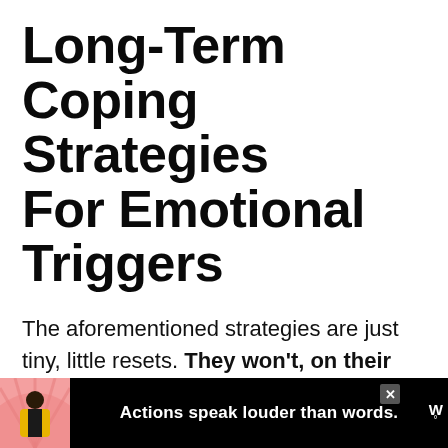Long-Term Coping Strategies For Emotional Triggers
The aforementioned strategies are just tiny, little resets. They won't, on their own, fix anything at the root of your reactions.
Sort of like running cold water on a
[Figure (other): Advertisement banner at bottom of page. Black background with an illustrated person in a yellow jacket on a pink/coral background on the left. Center text reads 'Actions speak louder than words.' in white bold text. An X close button and a logo with 'W°' appear on the right.]